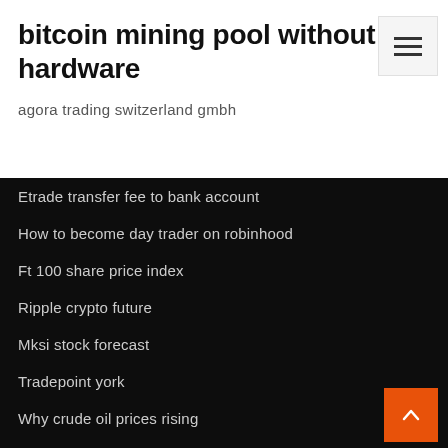bitcoin mining pool without hardware
agora trading switzerland gmbh
Etrade transfer fee to bank account
How to become day trader on robinhood
Ft 100 share price index
Ripple crypto future
Mksi stock forecast
Tradepoint york
Why crude oil prices rising
What is swing trading in forex
Amrs stock forecast